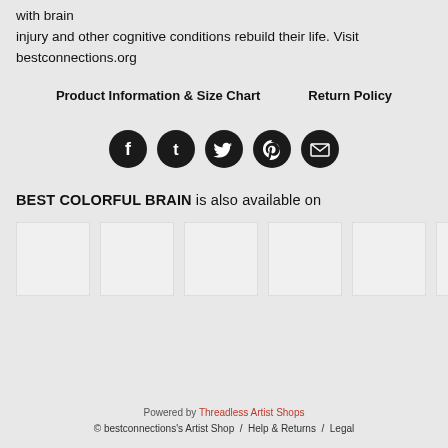with brain injury and other cognitive conditions rebuild their life. Visit bestconnections.org
Product Information & Size Chart    Return Policy
[Figure (other): Row of 5 social media icons (Facebook, Tumblr, Twitter, Pinterest, Email) as dark circular buttons]
BEST COLORFUL BRAIN is also available on
[Figure (other): Row of 6 white/light gray product thumbnail images]
Powered by Threadless Artist Shops
© bestconnections's Artist Shop / Help & Returns / Legal